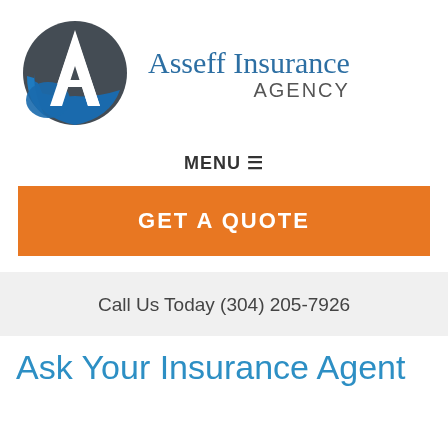[Figure (logo): Asseff Insurance Agency logo: circular icon with stylized 'A' in dark gray and blue, beside text 'Asseff Insurance AGENCY']
MENU ☰
GET A QUOTE
Call Us Today (304) 205-7926
Ask Your Insurance Agent